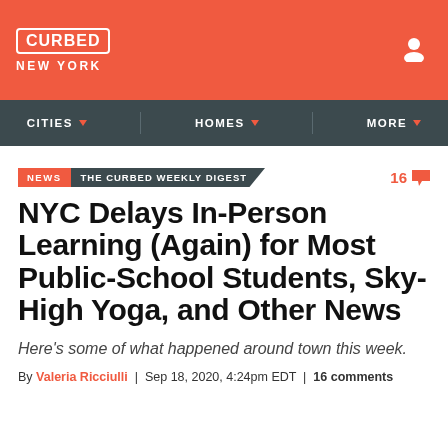CURBED NEW YORK
CITIES | HOMES | MORE
NEWS / THE CURBED WEEKLY DIGEST   16 comments
NYC Delays In-Person Learning (Again) for Most Public-School Students, Sky-High Yoga, and Other News
Here's some of what happened around town this week.
By Valeria Ricciulli | Sep 18, 2020, 4:24pm EDT | 16 comments